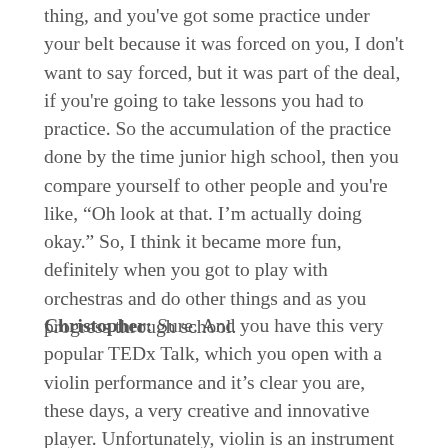thing, and you've got some practice under your belt because it was forced on you, I don't want to say forced, but it was part of the deal, if you're going to take lessons you had to practice. So the accumulation of the practice done by the time junior high school, then you compare yourself to other people and you're like, "Oh look at that. I'm actually doing okay." So, I think it became more fun, definitely when you got to play with orchestras and do other things and as you progress through school.
Christopher: Sure. And you have this very popular TEDx Talk, which you open with a violin performance and it's clear you are, these days, a very creative and innovative player. Unfortunately, violin is an instrument where it's